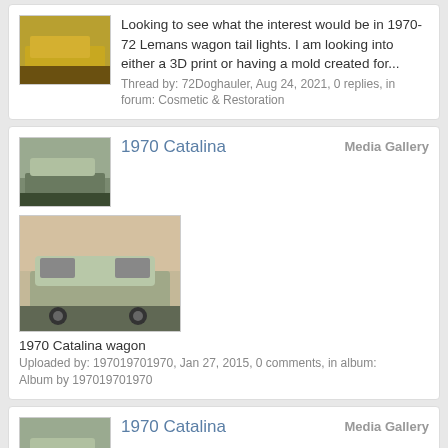Looking to see what the interest would be in 1970-72 Lemans wagon tail lights. I am looking into either a 3D print or having a mold created for...
Thread by: 72Doghauler, Aug 24, 2021, 0 replies, in forum: Cosmetic & Restoration
1970 Catalina
Media Gallery
[Figure (photo): 1970 Catalina wagon parked outside a building]
1970 Catalina wagon
Uploaded by: 197019701970, Jan 27, 2015, 0 comments, in album: Album by 197019701970
1970 Catalina
Media Gallery
[Figure (photo): 1970 Catalina wagon parked outside a building, slightly different angle]
1970 Catalina wagon
Uploaded by: 197019701970, Jan 27, 2015, 0 comments, in album: Album by 197019701970